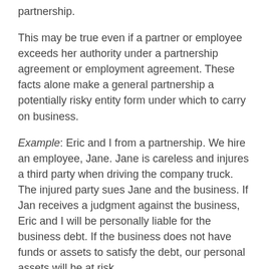partnership.
This may be true even if a partner or employee exceeds her authority under a partnership agreement or employment agreement. These facts alone make a general partnership a potentially risky entity form under which to carry on business.
Example: Eric and I from a partnership. We hire an employee, Jane. Jane is careless and injures a third party when driving the company truck. The injured party sues Jane and the business. If Jan receives a judgment against the business, Eric and I will be personally liable for the business debt. If the business does not have funds or assets to satisfy the debt, our personal assets will be at risk.
How are Partners Compensated?
General partners are compensated by receiving a draw of partnership funds (generally profits). This is known as the partner"s distributive share